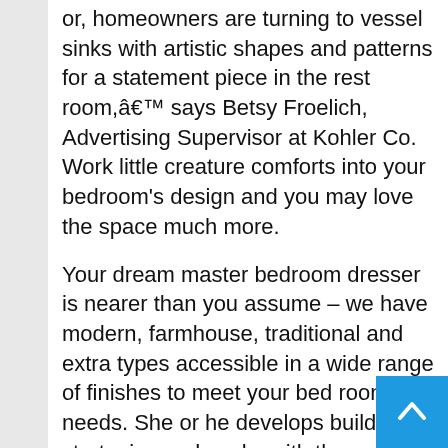or, homeowners are turning to vessel sinks with artistic shapes and patterns for a statement piece in the rest room,â€™ says Betsy Froelich, Advertising Supervisor at Kohler Co. Work little creature comforts into your bedroom's design and you may love the space much more.
Your dream master bedroom dresser is nearer than you assume – we have modern, farmhouse, traditional and extra types accessible in a wide range of finishes to meet your bed room needs. She or he develops building strategies and works with the undertaking supervisor to handle resource allocation. Now is also the time to apply painters tape for trimming, lay drop cloths, and so forth.
sixty four-bit software assist permits better utilization of RAM, which may be very useful when